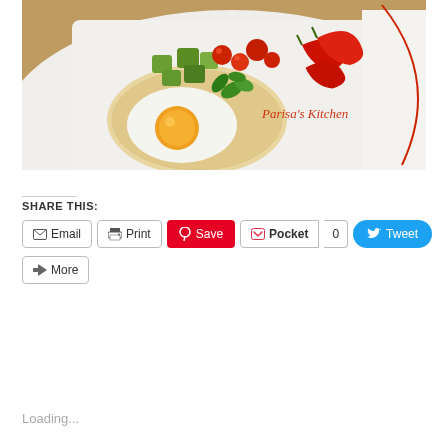[Figure (photo): Food photo showing a flatbread/tortilla topped with a fried egg, avocado chunks, tomatoes, and cilantro, with red chili peppers on the side, on a white plate. Watermark reads Parisa's Kitchen in red cursive. Photo is on a woven/rattan background.]
SHARE THIS:
Email | Print | Save | Pocket 0 | Tweet | More
Loading...